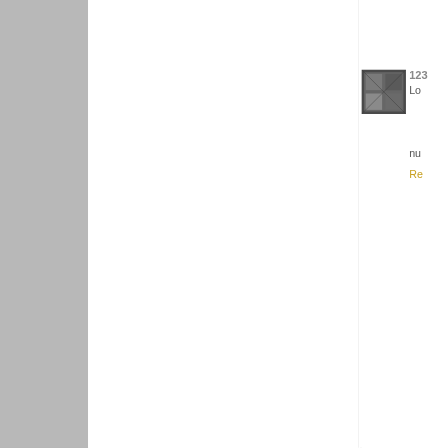[Figure (screenshot): Partial screenshot of a blog/website page showing comment section with user avatars and partial comment text, overlaid with a cookie consent banner. Left gray sidebar visible. Upper right shows a photo avatar with ID '123' and text 'Lo...' and 'nu...' with partial 'Re...' reply link. Middle right shows orange Blogger avatar with ID '124' and text 'Oh...' and 'tha...' with partial 'Re...' reply link. Lower right shows ID '125' and text 'Wh...' and partial URL 'http...' 'hic...'. Cookie banner reads: 'This website uses cookies to ensure you get the best experience on our website. Learn more'. Button bar reads 'Got it!']
This website uses cookies to ensure you get the best experience on our website.
Learn more
Got it!